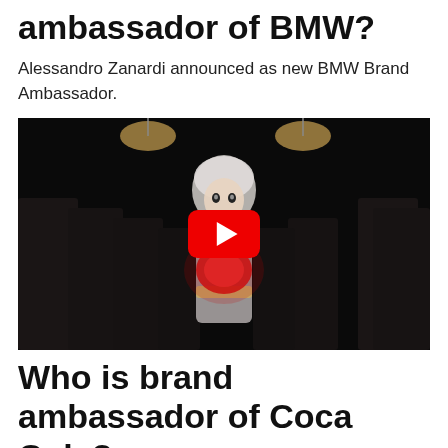ambassador of BMW?
Alessandro Zanardi announced as new BMW Brand Ambassador.
[Figure (screenshot): YouTube video thumbnail showing a woman in a white hooded outfit holding a glowing object, surrounded by people in dark clothing, with a red YouTube play button overlay in the center.]
Who is brand ambassador of Coca Cola?
Coca-Cola India extends partnership with